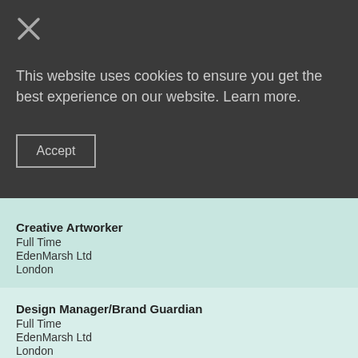[Figure (other): Close/X button icon in top-left corner of dark overlay]
This website uses cookies to ensure you get the best experience on our website. Learn more.
Accept
Creative Artworker
Full Time
EdenMarsh Ltd
London
Design Manager/Brand Guardian
Full Time
EdenMarsh Ltd
London